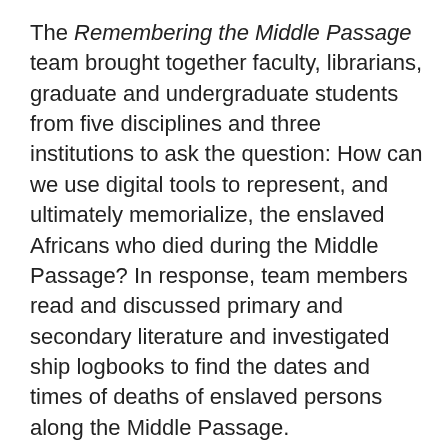The Remembering the Middle Passage team brought together faculty, librarians, graduate and undergraduate students from five disciplines and three institutions to ask the question: How can we use digital tools to represent, and ultimately memorialize, the enslaved Africans who died during the Middle Passage? In response, team members read and discussed primary and secondary literature and investigated ship logbooks to find the dates and times of deaths of enslaved persons along the Middle Passage.
The team then developed a virtual map of where the deaths of enslaved persons occurred in the Atlantic from approximately 1750-1850 using ArcGIS StoryMaps. Team members also collaboratively wrote an Acknowledgements document in order to